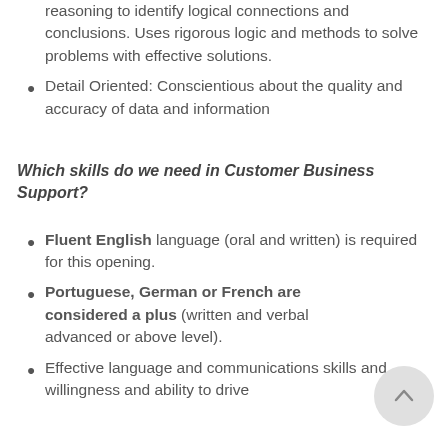Analytical Logical Reasoning: Uses reasoning to identify logical connections and conclusions. Uses rigorous logic and methods to solve problems with effective solutions.
Detail Oriented: Conscientious about the quality and accuracy of data and information
Which skills do we need in Customer Business Support?
Fluent English language (oral and written) is required for this opening.
Portuguese, German or French are considered a plus (written and verbal advanced or above level).
Effective language and communications skills and willingness and ability to drive